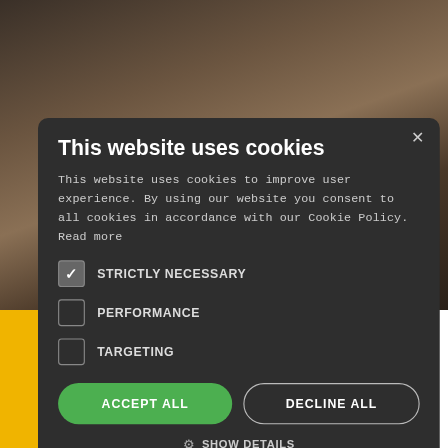[Figure (photo): Background showing wine bottles and a yellow/gold banner at the bottom with white text area partially visible on the right]
This website uses cookies
This website uses cookies to improve user experience. By using our website you consent to all cookies in accordance with our Cookie Policy. Read more
STRICTLY NECESSARY (checked)
PERFORMANCE (unchecked)
TARGETING (unchecked)
ACCEPT ALL
DECLINE ALL
⚙ SHOW DETAILS
POWERED BY COOKIESCRIPT